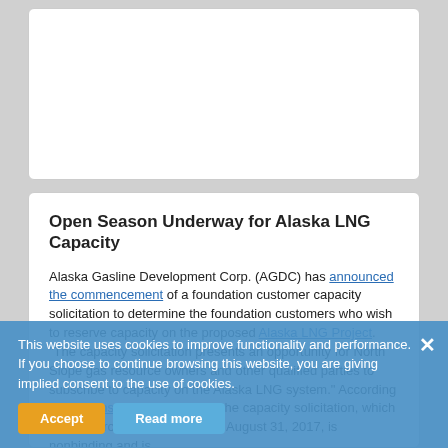[Figure (other): White card/panel at top of page — blank content area (image or advertisement placeholder)]
Open Season Underway for Alaska LNG Capacity
Alaska Gasline Development Corp. (AGDC) has announced the commencement of a foundation customer capacity solicitation to determine the foundation customers who wish to reserve capacity on the proposed Alaska LNG Project. “The capacity solicitation presents an opportunity for North Slope gas resource owners and other qualified parties to subscribe to capacity on the Alaska LNG system.” According to a Peninsula Clarion report, the capacity solicitation, which will runs from June 15 through August 31, 2017, is nonbinding and is
This website uses cookies to improve functionality and performance. If you choose to continue browsing this website, you are giving implied consent to the use of cookies.
states that “[I]mplied consent to the use of cookies...ocess, AGDC will continue to directly market to LNG buyers in the Asia-Pacific region, and will reserve transferable capacity on the Alaska LNG system to accommodate those volumes for